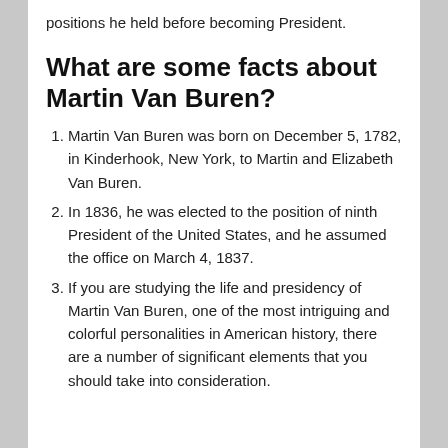positions he held before becoming President.
What are some facts about Martin Van Buren?
Martin Van Buren was born on December 5, 1782, in Kinderhook, New York, to Martin and Elizabeth Van Buren.
In 1836, he was elected to the position of ninth President of the United States, and he assumed the office on March 4, 1837.
If you are studying the life and presidency of Martin Van Buren, one of the most intriguing and colorful personalities in American history, there are a number of significant elements that you should take into consideration.